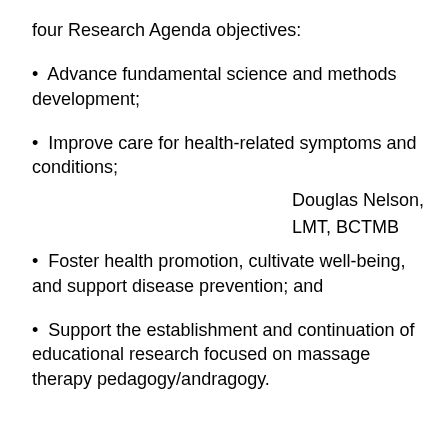four Research Agenda objectives:
Advance fundamental science and methods development;
Improve care for health-related symptoms and conditions;
Douglas Nelson, LMT, BCTMB
Foster health promotion, cultivate well-being, and support disease prevention; and
Support the establishment and continuation of educational research focused on massage therapy pedagogy/andragogy.